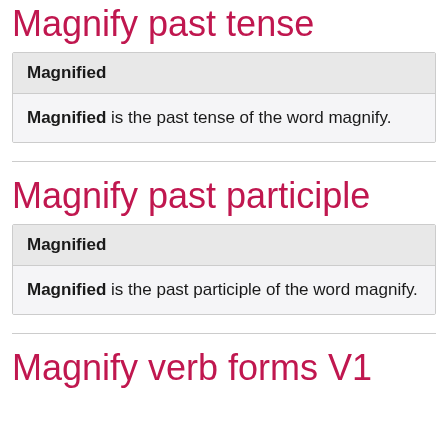Magnify past tense
| Magnified |
| --- |
| Magnified is the past tense of the word magnify. |
Magnify past participle
| Magnified |
| --- |
| Magnified is the past participle of the word magnify. |
Magnify verb forms V1